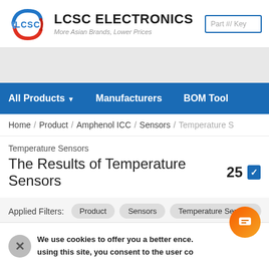[Figure (logo): LCSC Electronics logo with circular swoosh graphic in blue and red]
LCSC ELECTRONICS
More Asian Brands, Lower Prices
Part #/ Key
All Products   Manufacturers   BOM Tool
Home / Product / Amphenol ICC / Sensors / Temperature S
Temperature Sensors
The Results of Temperature Sensors 25
Applied Filters:   Product   Sensors   Temperature Sensors
We use cookies to offer you a better ence. using this site, you consent to the use r co